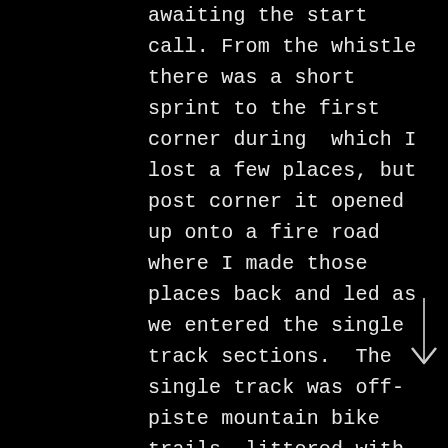awaiting the start call. From the whistle there was a short sprint to the first corner during  which I lost a few places, but post corner it opened up onto a fire road where I made those places back and led as we entered the single track sections.  The single track was off-piste mountain bike trails, littered with holes, roots, rocks and puddles, so I was concentrating so hard on where to place my feet whilst maintaining a good pace. I led until roughly the half way point where I was passed by a couple of guys. Over the course of the second half I gradually lost time but kept them in sight clocking in 20 seconds behind as we entered the first transition.

I didn't think the first transition went to